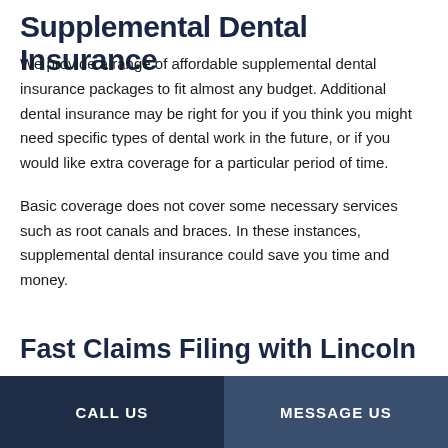Supplemental Dental Insurance
We provide a range of affordable supplemental dental insurance packages to fit almost any budget. Additional dental insurance may be right for you if you think you might need specific types of dental work in the future, or if you would like extra coverage for a particular period of time.
Basic coverage does not cover some necessary services such as root canals and braces. In these instances, supplemental dental insurance could save you time and money.
Fast Claims Filing with Lincoln
CALL US | MESSAGE US